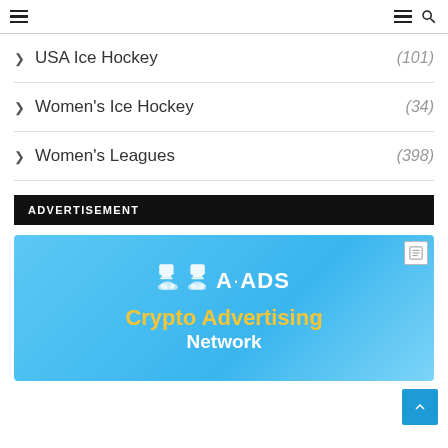Navigation header with hamburger menus and search icon
USA Ice Hockey (101)
Women's Ice Hockey (34)
Women's Leagues (398)
ADVERTISEMENT
[Figure (illustration): A-ADS Crypto Advertising Network banner ad with trophy icon on blue gradient background]